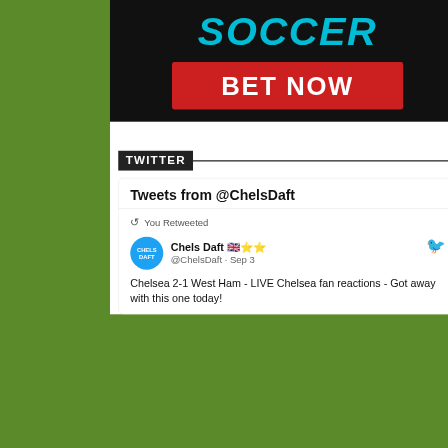[Figure (screenshot): Sports betting advertisement banner with 'SOCCER' in cyan text on black background and a red 'BET NOW' button]
TWITTER
Tweets from @ChelsDaft
You Retweeted
Chels Daft 🇬🇧⭐⭐ @ChelsDaft · Sep 3
Chelsea 2-1 West Ham - LIVE Chelsea fan reactions - Got away with this one today!